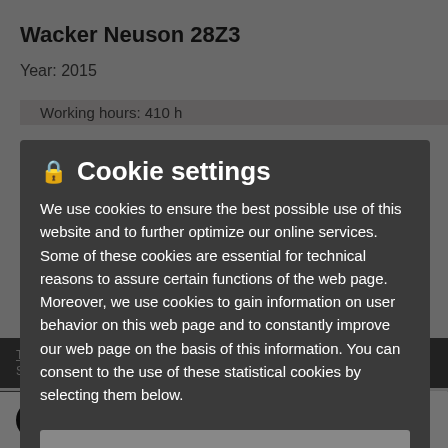Wacker Neuson 28Z3
Year: 2015
Working hours: 410 h
Location: 15342
Country: United States
Price 2009 Am RUF
Phone: 41 45 045
E-m
Cookie settings
We use cookies to ensure the best possible use of this website and to further optimize our online services. Some of these cookies are essential for technical reasons to assure certain functions of the web page. Moreover, we use cookies to gain information on user behavior on this web page and to constantly improve our web page on the basis of this information. You can consent to the use of these statistical cookies by selecting them below.
Only accept required cookies
I accept all cookies*
* Required and statistical cookies: Google Analytics and Google Tag Manager, to collect statistical data on user behavior
Terms of Use  General terms and conditions  Imprint & Legal  Privacy State...
WackerNeuson